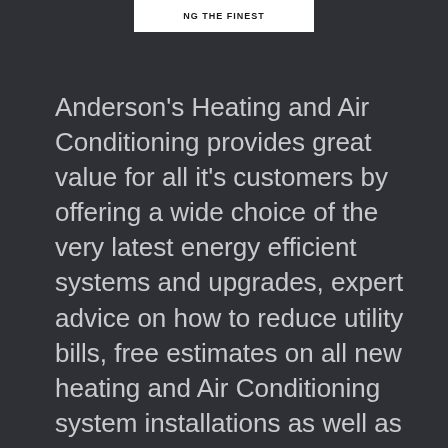[Figure (logo): Partial logo banner showing text 'NG THE FINEST' with a circular logo element, white background]
Anderson's Heating and Air Conditioning provides great value for all it's customers by offering a wide choice of the very latest energy efficient systems and upgrades, expert advice on how to reduce utility bills, free estimates on all new heating and Air Conditioning system installations as well as periodic special offers and promotions.